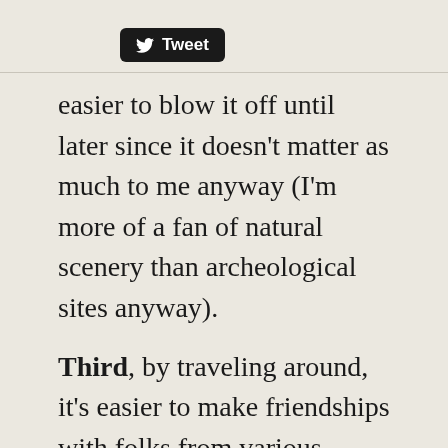[Figure (other): Twitter Tweet button with bird logo]
easier to blow it off until later since it doesn't matter as much to me anyway (I'm more of a fan of natural scenery than archeological sites anyway).
Third, by traveling around, it's easier to make friendships with folks from various countries. When I was traveling around more often, I usually hung out